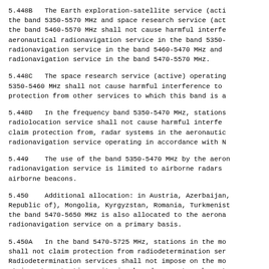5.448B  The Earth exploration-satellite service (active) in the band 5350-5570 MHz and space research service (active) in the band 5460-5570 MHz shall not cause harmful interference to the aeronautical radionavigation service in the band 5350-5460 MHz, to the radionavigation service in the band 5460-5470 MHz and to the maritime radionavigation service in the band 5470-5570 MHz.
5.448C  The space research service (active) operating in the band 5350-5460 MHz shall not cause harmful interference to and shall accept protection from other services to which this band is allocated.
5.448D  In the frequency band 5350-5470 MHz, stations in the radiolocation service shall not cause harmful interference to, nor claim protection from, radar systems in the aeronautical radionavigation service operating in accordance with No. ...
5.449  The use of the band 5350-5470 MHz by the aeronautical radionavigation service is limited to airborne radars and airborne beacons.
5.450  Additional allocation: in Austria, Azerbaijan, (Republic of), Mongolia, Kyrgyzstan, Romania, Turkmenistan, the band 5470-5650 MHz is also allocated to the aeronautical radionavigation service on a primary basis.
5.450A  In the band 5470-5725 MHz, stations in the maritime radionavigation service shall not claim protection from radiodetermination services. Radiodetermination services shall not impose on the maritime more stringent protection criteria, based on system characteristics.